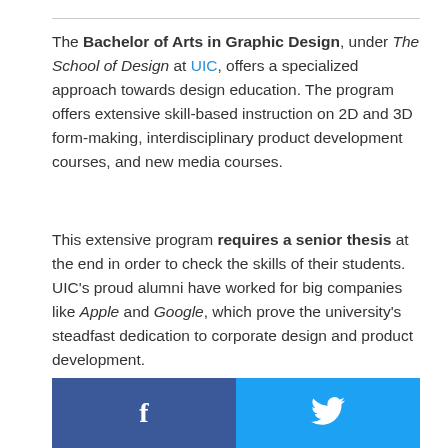The Bachelor of Arts in Graphic Design, under The School of Design at UIC, offers a specialized approach towards design education. The program offers extensive skill-based instruction on 2D and 3D form-making, interdisciplinary product development courses, and new media courses.
This extensive program requires a senior thesis at the end in order to check the skills of their students. UIC's proud alumni have worked for big companies like Apple and Google, which prove the university's steadfast dedication to corporate design and product development.
[Figure (other): Social media sharing buttons: Facebook (dark blue) and Twitter (light blue) side by side]